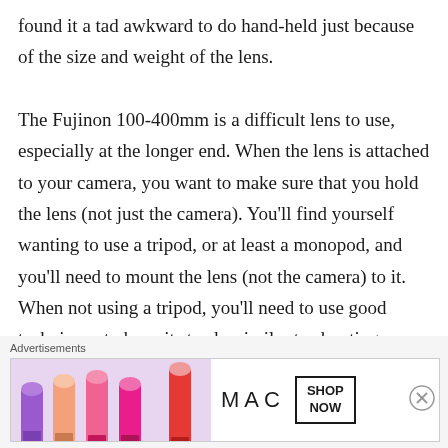found it a tad awkward to do hand-held just because of the size and weight of the lens.

The Fujinon 100-400mm is a difficult lens to use, especially at the longer end. When the lens is attached to your camera, you want to make sure that you hold the lens (not just the camera). You'll find yourself wanting to use a tripod, or at least a monopod, and you'll need to mount the lens (not the camera) to it. When not using a tripod, you'll need to use good techniques to keep it steady, similar to shooting a rifle. Fast shutter speeds will be
[Figure (other): MAC Cosmetics advertisement banner showing colorful lipsticks on the left, the MAC logo in the center, and a SHOP NOW button box on the right]